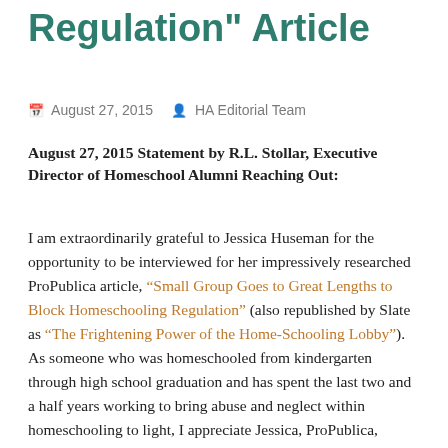Regulation" Article
August 27, 2015   HA Editorial Team
August 27, 2015 Statement by R.L. Stollar, Executive Director of Homeschool Alumni Reaching Out:
I am extraordinarily grateful to Jessica Huseman for the opportunity to be interviewed for her impressively researched ProPublica article, “Small Group Goes to Great Lengths to Block Homeschooling Regulation” (also republished by Slate as “The Frightening Power of the Home-Schooling Lobby”). As someone who was homeschooled from kindergarten through high school graduation and has spent the last two and a half years working to bring abuse and neglect within homeschooling to light, I appreciate Jessica, ProPublica,